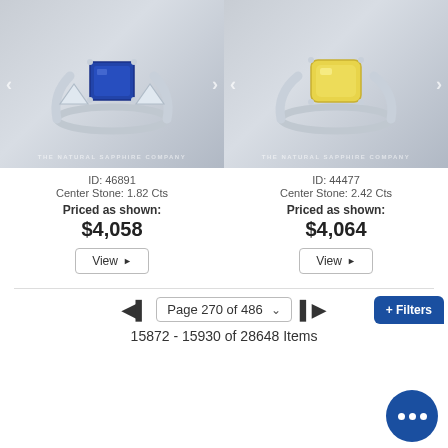[Figure (photo): Blue sapphire ring with white gold band and triangle diamond side stones, product ID 46891]
ID: 46891
Center Stone: 1.82 Cts
Priced as shown:
$4,058
[Figure (photo): Yellow sapphire ring with white gold band, product ID 44477]
ID: 44477
Center Stone: 2.42 Cts
Priced as shown:
$4,064
Page 270 of 486
15872 - 15930 of 28648 Items